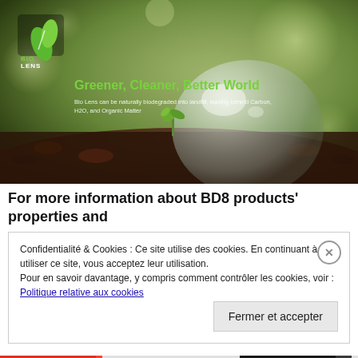[Figure (photo): Bio Lens product hero image: green leaf logo with 'BIO LENS' text on dark bokeh background, large crystal/glass ball on soil with small green sprout, text 'Greener, Cleaner, Better World' in green/white, subtitle 'Bio Lens can be naturally biodegraded into landfill, leaving behind Carbon, H2O, and Organic Matter']
For more information about BD8 products’ properties and
Confidentialité & Cookies : Ce site utilise des cookies. En continuant à utiliser ce site, vous acceptez leur utilisation.
Pour en savoir davantage, y compris comment contrôler les cookies, voir :
Politique relative aux cookies
Fermer et accepter